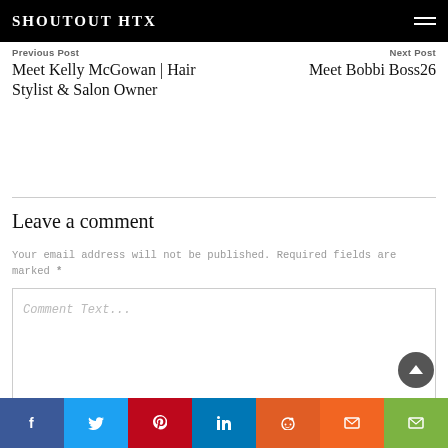SHOUTOUT HTX
Previous Post
Next Post
Meet Kelly McGowan | Hair Stylist & Salon Owner
Meet Bobbi Boss26
Leave a comment
Your email address will not be published. Required fields are marked *
Comment Text...